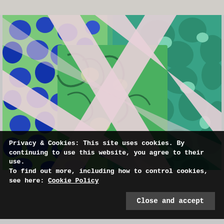[Figure (photo): A colorful quilt pattern photo featuring teal/green floral fabrics on the right, blue dotted fabric on the left, and a light pink/lavender lattice diamond pattern overlaid in the center, on a green background.]
Privacy & Cookies: This site uses cookies. By continuing to use this website, you agree to their use.
To find out more, including how to control cookies, see here: Cookie Policy